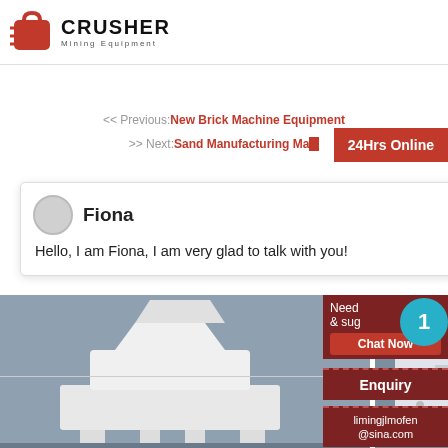[Figure (logo): Crusher Mining Equipment logo with red shopping bag icon and bold CRUSHER text]
<< Previous:New Brick Machine Equipment
>> Next:Sand Manufacturing Ma...
24Hrs Online
Fiona
Hello, I am Fiona, I am very glad to talk with you!
[Figure (photo): White industrial vertical shaft impact crusher machine in a workshop]
[Figure (photo): Industrial jaw crusher or similar mining machinery]
Need & suggestions
Chat Now
1
Enquiry
limingjlmofen@sina.com